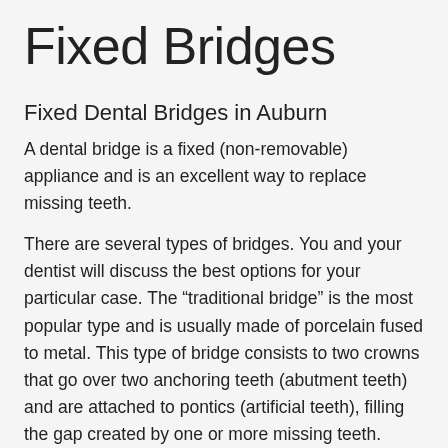Fixed Bridges
Fixed Dental Bridges in Auburn
A dental bridge is a fixed (non-removable) appliance and is an excellent way to replace missing teeth.
There are several types of bridges.  You and your dentist will discuss the best options for your particular case.  The “traditional bridge” is the most popular type and is usually made of porcelain fused to metal.  This type of bridge consists to two crowns that go over two anchoring teeth (abutment teeth) and are attached to pontics (artificial teeth), filling the gap created by one or more missing teeth.
Dental bridges are highly durable and will last many years, however, they may need replacement or need to be re-